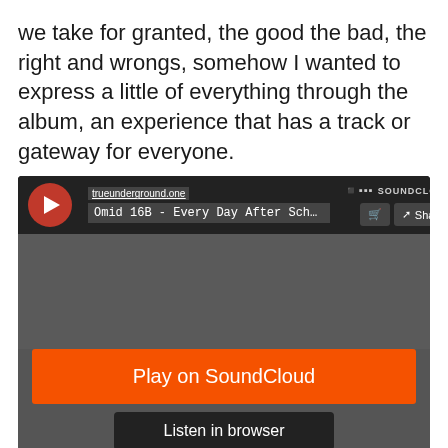we take for granted, the good the bad, the right and wrongs, somehow I wanted to express a little of everything through the album, an experience that has a track or gateway for everyone.
[Figure (screenshot): SoundCloud embedded music player widget showing 'Omid 16B - Every Day After Scho...' from trueunderground.one, with Play on SoundCloud and Listen in browser buttons on a dark grey background.]